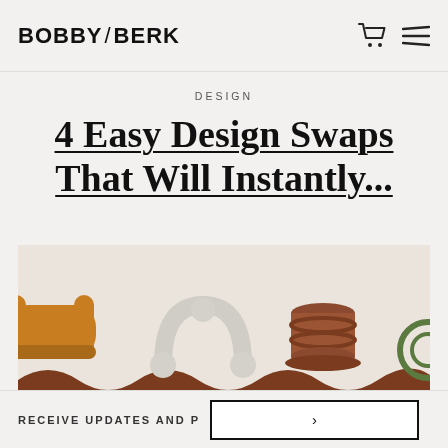BOBBY / BERK
DESIGN
4 Easy Design Swaps That Will Instantly...
[Figure (photo): A styled flat-lay photo showing decorative home objects: a mustard yellow curved sofa on the left, white sculptural knob/furniture hardware in the center-left, a terracotta-brown cylindrical candle holder in the center-right, and a partial green circular object on the right, all arranged over a wavy dark brown surface.]
RECEIVE UPDATES AND P